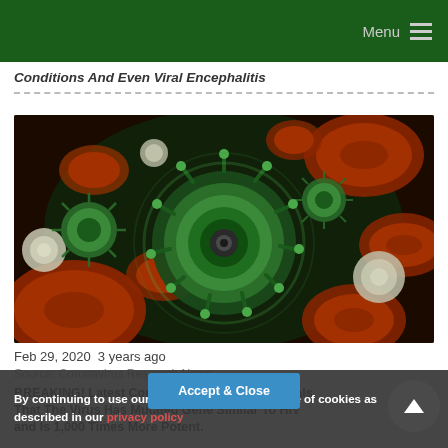Menu
Conditions And Even Viral Encephalitis
[Figure (photo): Microscopic illustration of a green coronavirus particle surrounded by red blood cells and white blood cells on a dark background]
Feb 29, 2020  3 years ago
Source: Coronavirus Research News
BREAKING! Latest Coronavirus Research Reveals That The Virus Has Mutated Gene Similar To HIV and Is 1,000 Times More Potent.
By continuing to use our site you consent to the use of cookies as described in our privacy policy